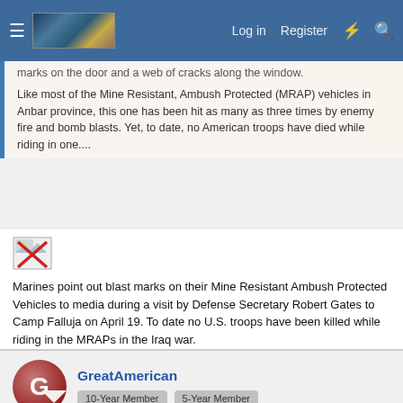Log in  Register
marks on the door and a web of cracks along the window.
Like most of the Mine Resistant, Ambush Protected (MRAP) vehicles in Anbar province, this one has been hit as many as three times by enemy fire and bomb blasts. Yet, to date, no American troops have died while riding in one....
[Figure (photo): Broken/missing image icon with red X]
Marines point out blast marks on their Mine Resistant Ambush Protected Vehicles to media during a visit by Defense Secretary Robert Gates to Camp Falluja on April 19. To date no U.S. troops have been killed while riding in the MRAPs in the Iraq war.
GreatAmerican
10-Year Member  5-Year Member